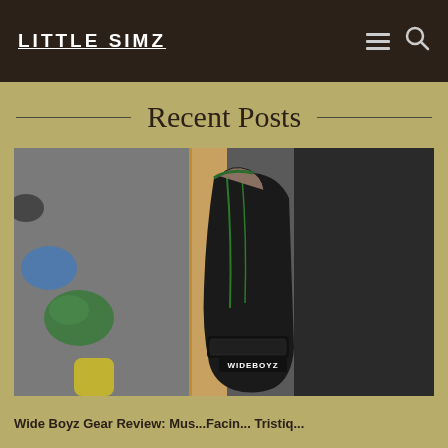LITTLE SIMZ
Recent Posts
[Figure (photo): Close-up photo of a person's hand wearing a black fingerless Wideboyz climbing glove gripping a wooden board edge, with colored climbing holds (green, blue, yellow) visible in the blurry background.]
Wide Boyz Gear Review: Mus...Facin...Tristiq...